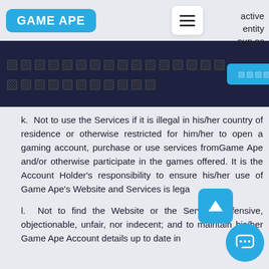GAME APE
active entity oup as
[Figure (other): Redacted/obscured text block in dark banner with cyan button]
k. Not to use the Services if it is illegal in his/her country of residence or otherwise restricted for him/her to open a gaming account, purchase or use services fromGame Ape and/or otherwise participate in the games offered. It is the Account Holder's responsibility to ensure his/her use of Game Ape's Website and Services is lega
l. Not to find the Website or the Services offensive, objectionable, unfair, nor indecent; and to maintain his/her Game Ape Account details up to date in